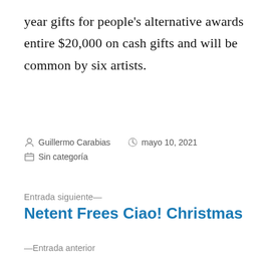year gifts for people's alternative awards entire $20,000 on cash gifts and will be common by six artists.
Guillermo Carabias   mayo 10, 2021   Sin categoría
Entrada siguiente— Netent Frees Ciao! Christmas
—Entrada anterior